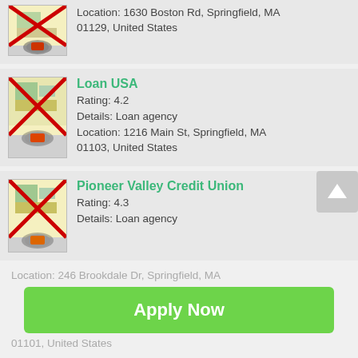[Figure (screenshot): Map icon with red X cross overlay and location pin, for an unnamed loan agency]
Location: 1630 Boston Rd, Springfield, MA 01129, United States
[Figure (screenshot): Map icon with red X cross overlay and location pin for Loan USA]
Loan USA
Rating: 4.2
Details: Loan agency
Location: 1216 Main St, Springfield, MA 01103, United States
[Figure (screenshot): Map icon with red X cross overlay and location pin for Pioneer Valley Credit Union]
Pioneer Valley Credit Union
Rating: 4.3
Details: Loan agency
Location: 246 Brookdale Dr, Springfield, MA 01101, United States
Apply Now
Applying does NOT affect your credit score!
No credit check to apply.
[Figure (screenshot): Partial card at bottom with map icon]
Rating: 10